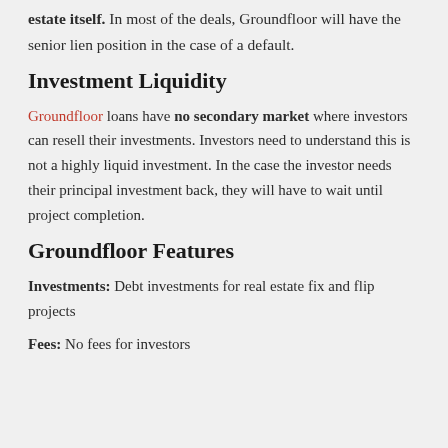estate itself. In most of the deals, Groundfloor will have the senior lien position in the case of a default.
Investment Liquidity
Groundfloor loans have no secondary market where investors can resell their investments. Investors need to understand this is not a highly liquid investment. In the case the investor needs their principal investment back, they will have to wait until project completion.
Groundfloor Features
Investments: Debt investments for real estate fix and flip projects
Fees: No fees for investors